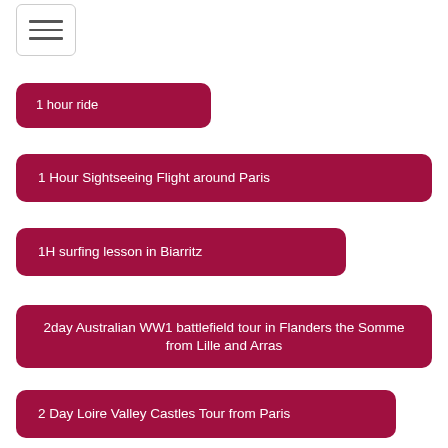[Figure (other): Hamburger menu icon button with three horizontal lines inside a rounded rectangle border]
1 hour ride
1 Hour Sightseeing Flight around Paris
1H surfing lesson in Biarritz
2day Australian WW1 battlefield tour in Flanders the Somme from Lille and Arras
2 Day Loire Valley Castles Tour from Paris